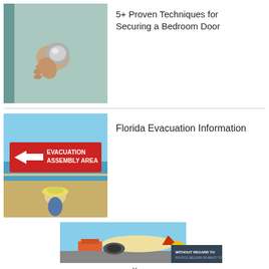[Figure (photo): Hand gripping a door knob on a light blue/teal door]
5+ Proven Techniques for Securing a Bedroom Door
[Figure (photo): Evacuation Assembly Area red sign with left arrow, person with umbrella hat in foreground, beach in background]
Florida Evacuation Information
[Figure (photo): Airplane being loaded with cargo at airport, banner reading WITHOUT REGARD TO POLITICS, RELIGION OR ABILITY TO PAY]